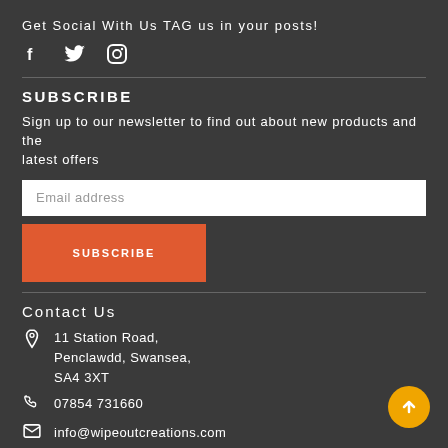Get Social With Us TAG us in your posts!
[Figure (illustration): Social media icons: Facebook (f), Twitter (bird), Instagram (camera circle)]
SUBSCRIBE
Sign up to our newsletter to find out about new products and the latest offers
[Figure (screenshot): Email address input field (white background) with placeholder text 'Email address']
[Figure (screenshot): Orange SUBSCRIBE button]
Contact Us
11 Station Road, Penclawdd, Swansea, SA4 3XT
07854 731660
info@wipeoutcreations.com